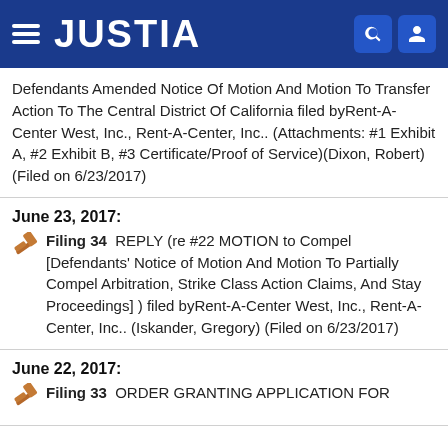[Figure (screenshot): Justia website header bar with hamburger menu, JUSTIA logo, search icon and user icon on dark blue background]
Defendants Amended Notice Of Motion And Motion To Transfer Action To The Central District Of California filed byRent-A-Center West, Inc., Rent-A-Center, Inc.. (Attachments: #1 Exhibit A, #2 Exhibit B, #3 Certificate/Proof of Service)(Dixon, Robert) (Filed on 6/23/2017)
June 23, 2017:
Filing 34  REPLY (re #22 MOTION to Compel [Defendants' Notice of Motion And Motion To Partially Compel Arbitration, Strike Class Action Claims, And Stay Proceedings] ) filed byRent-A-Center West, Inc., Rent-A-Center, Inc.. (Iskander, Gregory) (Filed on 6/23/2017)
June 22, 2017:
Filing 33  ORDER GRANTING APPLICATION FOR